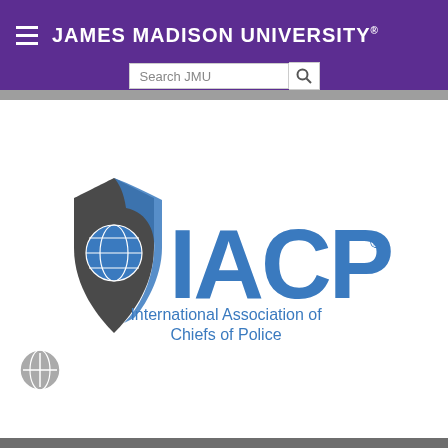JAMES MADISON UNIVERSITY
[Figure (logo): IACP - International Association of Chiefs of Police logo with shield icon containing a globe, alongside large blue IACP lettering and subtitle text]
[Figure (logo): Small circular towermark/globe icon in grey at bottom left]